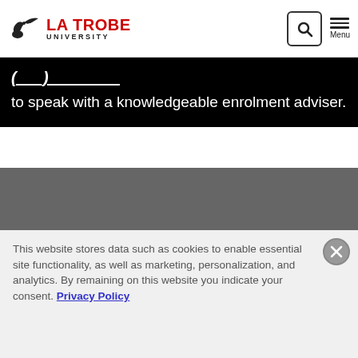[Figure (logo): La Trobe University logo with bird icon, 'LA TROBE' in red and 'UNIVERSITY' in black]
(___) ___ ____ to speak with a knowledgeable enrolment adviser.
[Figure (other): Grey section placeholder area]
Courses
This website stores data such as cookies to enable essential site functionality, as well as marketing, personalization, and analytics. By remaining on this website you indicate your consent. Privacy Policy